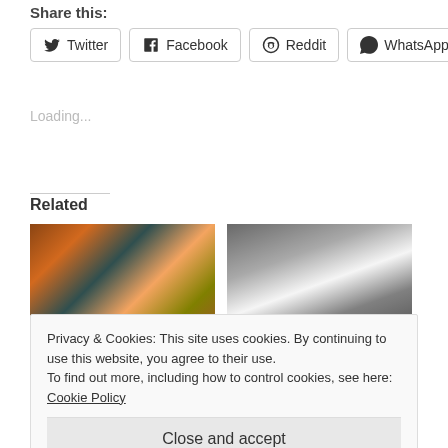Share this:
Twitter
Facebook
Reddit
WhatsApp
Loading...
Related
[Figure (photo): Food items spread on a table - spices, vegetables, decorative items]
[Figure (photo): Two people in formal wear - a man and a woman]
Privacy & Cookies: This site uses cookies. By continuing to use this website, you agree to their use.
To find out more, including how to control cookies, see here: Cookie Policy
Close and accept